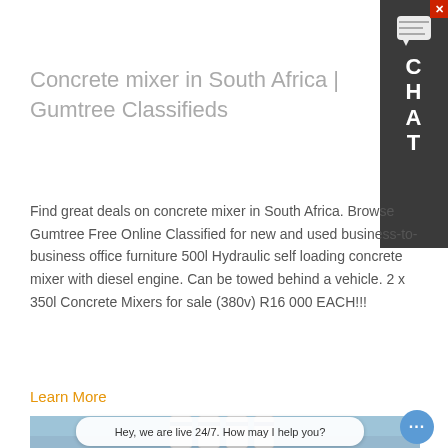Concrete mixer in South Africa | Gumtree Classifieds
Find great deals on concrete mixer in South Africa. Browse Gumtree Free Online Classified for new and used business-to-business office furniture 500l Hydraulic self loading concrete mixer with diesel engine. Can be towed behind a vehicle. 2 x 350l Concrete Mixers for sale (380v) R16 000 EACH!!!
Learn More
[Figure (photo): Industrial concrete mixing plant with multiple large white and blue cylindrical silos/hoppers on a support structure, photographed outdoors with a light sky background]
Hey, we are live 24/7. How may I help you?